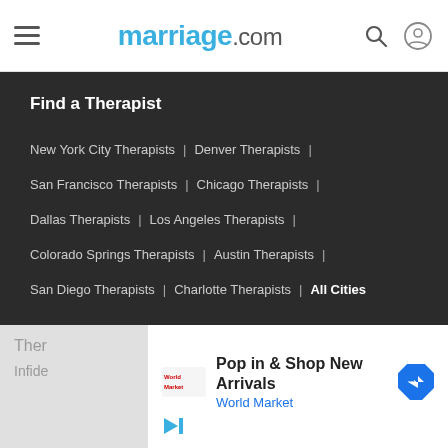marriage.com
Find a Therapist
New York City Therapists | Denver Therapists |
San Francisco Therapists | Chicago Therapists |
Dallas Therapists | Los Angeles Therapists |
Colorado Springs Therapists | Austin Therapists |
San Diego Therapists | Charlotte Therapists | All Cities
Ther
Infide
[Figure (screenshot): Advertisement banner: Pop in & Shop New Arrivals - World Market, with a navigation/turn arrow icon and World Market logo]